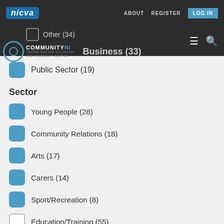nicva  ABOUT  REGISTER  LOG IN
COMMUNITY NI
Other (34)
Business (33)
Public Sector (19)
Sector
Young People (28)
Community Relations (18)
Arts (17)
Carers (14)
Sport/Recreation (8)
Education/Training (55)
Health And Wellbeing (43)